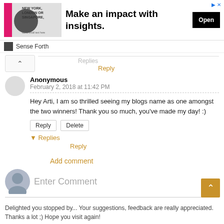[Figure (screenshot): Advertisement banner: image of a man with text 'NEW YORK, LONDON OR SINGAPORE.' on the left, headline 'Make an impact with insights.' in center, 'Open' button on the right, 'Sense Forth' sponsor below.]
Replies
Reply
Anonymous
February 2, 2018 at 11:42 PM
Hey Arti, I am so thrilled seeing my blogs name as one amongst the two winners! Thank you so much, you've made my day! :)
Reply   Delete
▾ Replies
Reply
Add comment
Enter Comment
Delighted you stopped by... Your suggestions, feedback are really appreciated. Thanks a lot ;) Hope you visit again!